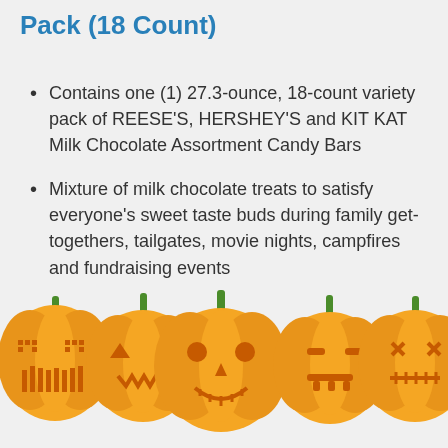Pack (18 Count)
Contains one (1) 27.3-ounce, 18-count variety pack of REESE'S, HERSHEY'S and KIT KAT Milk Chocolate Assortment Candy Bars
Mixture of milk chocolate treats to satisfy everyone's sweet taste buds during family get-togethers, tailgates, movie nights, campfires and fundraising events
[Figure (illustration): Row of five carved Halloween jack-o-lantern pumpkins with glowing faces at the bottom of the page]